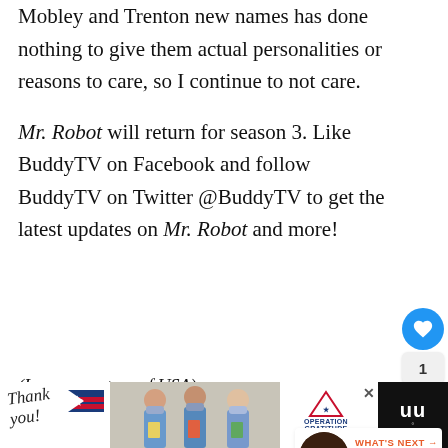Mobley and Trenton new names has done nothing to give them actual personalities or reasons to care, so I continue to not care.
Mr. Robot will return for season 3. Like BuddyTV on Facebook and follow BuddyTV on Twitter @BuddyTV to get the latest updates on Mr. Robot and more!
(Image courtesy of USA)
[Figure (screenshot): Advertisement bar at the bottom with 'Thank you!' text, nurses photo, Operation Gratitude logo, close button, and MW logo icon on the right.]